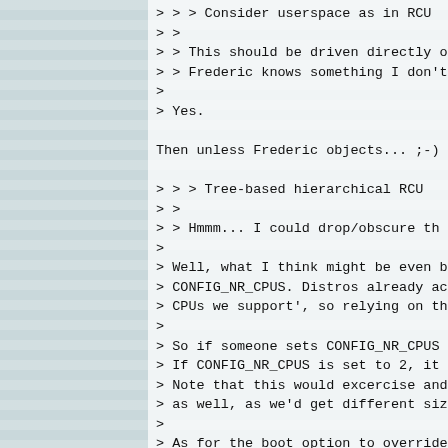> > >   Consider userspace as in RCU
> >
> > This should be driven directly o
> > Frederic knows something I don't
>
> Yes.

Then unless Frederic objects...  ;-)

> > >   Tree-based hierarchical RCU
> >
> > Hmmm...  I could drop/obscure th
>
> Well, what I think might be even b
> CONFIG_NR_CPUS. Distros already ac
> CPUs we support', so relying on th
>
> So if someone sets CONFIG_NR_CPUS
> If CONFIG_NR_CPUS is set to 2, it
> Note that this would excercise and
> as well, as we'd get different siz
>
> As for the boot option to override
> that?

Well, in normal circumstances, it sh
32 for 32-bit systems, regardless of
an odd-sized multisocket system with
memory latencies, you might want to
a silly example, suppose your system